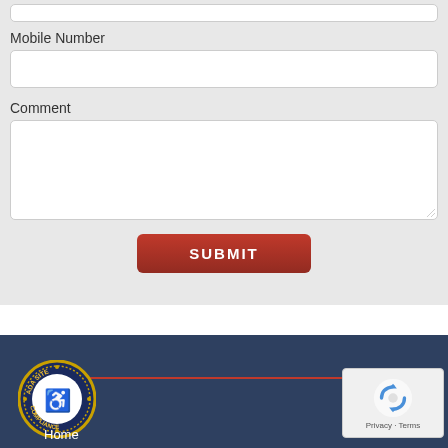Mobile Number
[Figure (screenshot): Empty text input field for Mobile Number]
Comment
[Figure (screenshot): Empty textarea input field for Comment]
[Figure (screenshot): Red Submit button]
[Figure (logo): ADA Site Compliance badge with wheelchair accessibility icon]
Home
[Figure (screenshot): reCAPTCHA widget showing recycling arrows icon with Privacy - Terms text]